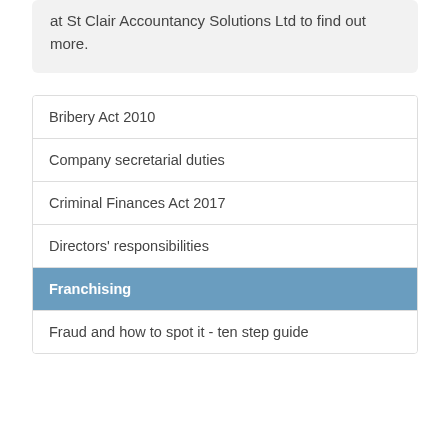at St Clair Accountancy Solutions Ltd to find out more.
Bribery Act 2010
Company secretarial duties
Criminal Finances Act 2017
Directors' responsibilities
Franchising
Fraud and how to spot it - ten step guide